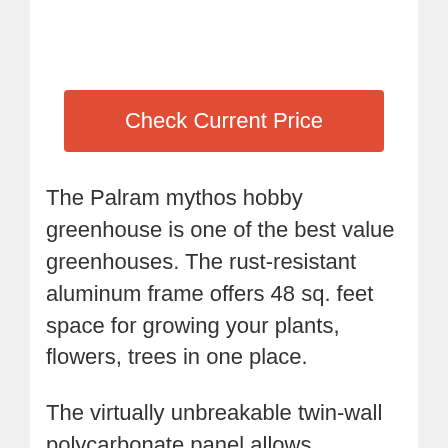[Figure (other): Red button labeled 'Check Current Price']
The Palram mythos hobby greenhouse is one of the best value greenhouses. The rust-resistant aluminum frame offers 48 sq. feet space for growing your plants, flowers, trees in one place.
The virtually unbreakable twin-wall polycarbonate panel allows blockage of 99% UV rays that may damage the plants. To